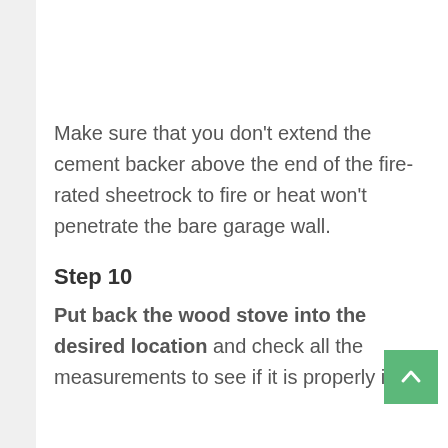Make sure that you don't extend the cement backer above the end of the fire-rated sheetrock to fire or heat won't penetrate the bare garage wall.
Step 10
Put back the wood stove into the desired location and check all the measurements to see if it is properly in